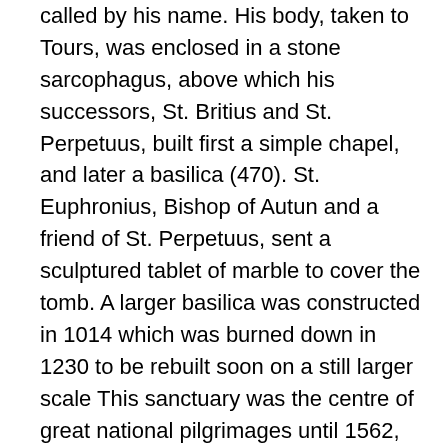called by his name. His body, taken to Tours, was enclosed in a stone sarcophagus, above which his successors, St. Britius and St. Perpetuus, built first a simple chapel, and later a basilica (470). St. Euphronius, Bishop of Autun and a friend of St. Perpetuus, sent a sculptured tablet of marble to cover the tomb. A larger basilica was constructed in 1014 which was burned down in 1230 to be rebuilt soon on a still larger scale This sanctuary was the centre of great national pilgrimages until 1562, the fatal year when the Protestants sacked it from top to bottom, destroying the sepulchre and the relics of the great wonder-worker, the object of their hatred. The ill-fated collegiate church was restored by its canons, but a new and more terrible misfortune awaited it. The revolutionary hammer of 1793 was to subject it to a last devastation. It was entirely demolished with the exception of the two towers which are still standing and, so that its